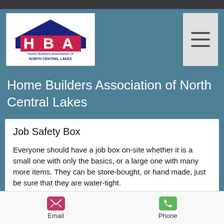[Figure (logo): Home Builders Association of North Central Lakes logo with house icon and HBA letters in red with blue roof]
Home Builders Association of North Central Lakes
Job Safety Box
Everyone should have a job box on-site whether it is a small one with only the basics, or a large one with many more items.  They can be store-bought, or hand made, just be sure that they are water-tight.
Several things should be in this box:
Email   Phone